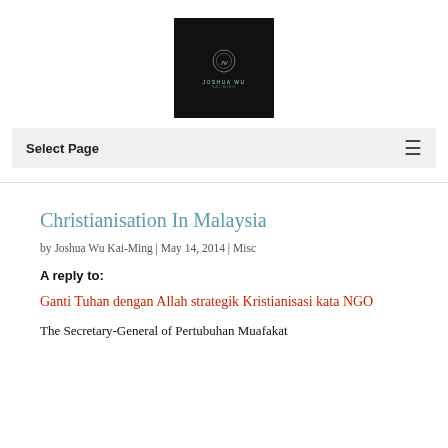[Figure (logo): Black square logo with circular emblem and text 'JOSHUA WU' and subtitle]
Select Page
Christianisation In Malaysia
by Joshua Wu Kai-Ming | May 14, 2014 | Misc
A reply to:
Ganti Tuhan dengan Allah strategik Kristianisasi kata NGO
The Secretary-General of Pertubuhan Muafakat